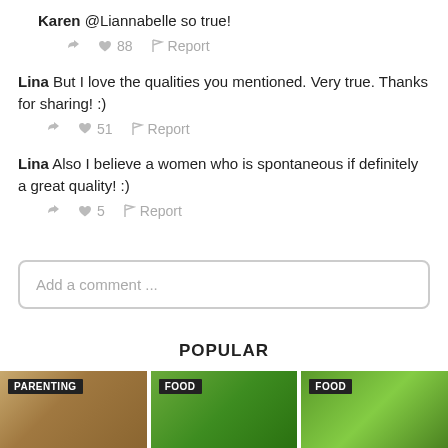Karen @Liannabelle so true!
↩ ♥ 88 ⚑ Report
Lina But I love the qualities you mentioned. Very true. Thanks for sharing! :)
↩ ♥ 51 ⚑ Report
Lina Also I believe a women who is spontaneous if definitely a great quality! :)
↩ ♥ 5 ⚑ Report
Add a comment ...
POPULAR
[Figure (photo): Three thumbnail images labeled PARENTING, FOOD, FOOD showing outdoor/food photography]